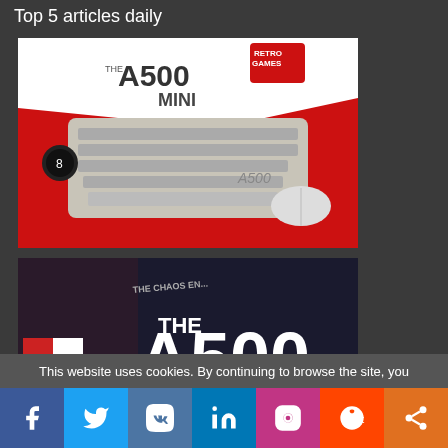Top 5 articles daily
[Figure (photo): A500 Mini retro gaming computer promotional image with keyboard, joystick mouse, and game characters on red background with Retro Games logo]
[Figure (photo): The A500 Mini logo text on dark background with game cover art collage]
This website uses cookies. By continuing to browse the site, you
[Figure (infographic): Social media sharing buttons bar: Facebook, Twitter, VK, LinkedIn, Instagram, Reddit, Share]